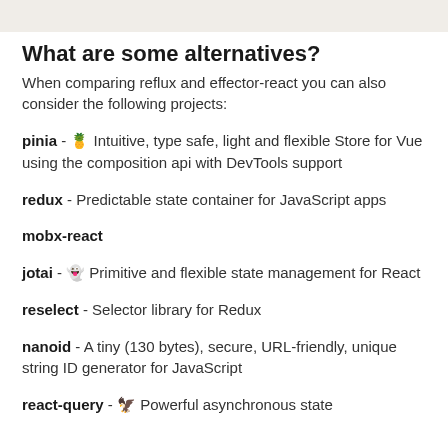What are some alternatives?
When comparing reflux and effector-react you can also consider the following projects:
pinia - 🍍 Intuitive, type safe, light and flexible Store for Vue using the composition api with DevTools support
redux - Predictable state container for JavaScript apps
mobx-react
jotai - 👻 Primitive and flexible state management for React
reselect - Selector library for Redux
nanoid - A tiny (130 bytes), secure, URL-friendly, unique string ID generator for JavaScript
react-query - 🦅 Powerful asynchronous state